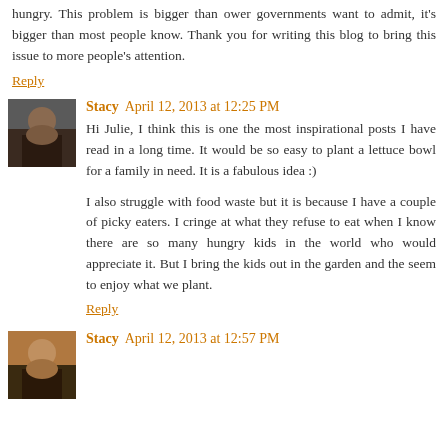hungry. This problem is bigger than ower governments want to admit, it's bigger than most people know. Thank you for writing this blog to bring this issue to more people's attention.
Reply
Stacy April 12, 2013 at 12:25 PM
Hi Julie, I think this is one the most inspirational posts I have read in a long time. It would be so easy to plant a lettuce bowl for a family in need. It is a fabulous idea :)
I also struggle with food waste but it is because I have a couple of picky eaters. I cringe at what they refuse to eat when I know there are so many hungry kids in the world who would appreciate it. But I bring the kids out in the garden and the seem to enjoy what we plant.
Reply
Stacy April 12, 2013 at 12:57 PM